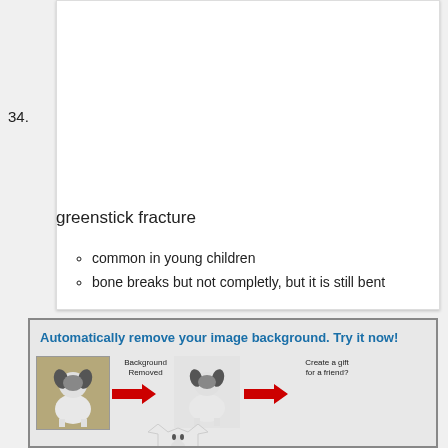34.
greenstick fracture
common in young children
bone breaks but not completly, but it is still bent
[Figure (infographic): Advertisement banner: 'Automatically remove your image background. Try it now!' showing a dog photo being background-removed with red arrows, and creating a gift on a shirt.]